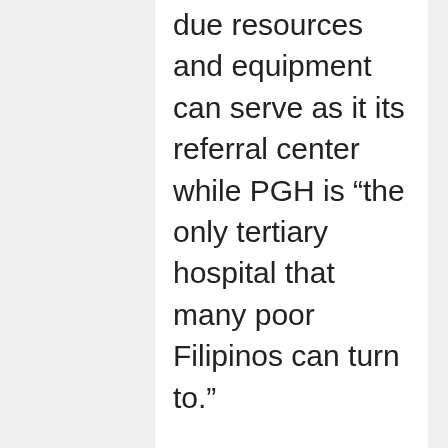due resources and equipment can serve as it its referral center while PGH is “the only tertiary hospital that many poor Filipinos can turn to.”
Read: PGH as COVID-19 center: Capacities and Implications
Filipino Nurses United said the delay in identifying referral hospitals not only flooded some hospitals with COVID-19 patients but also kept them from providing basic services to non-COVID-19 patients.